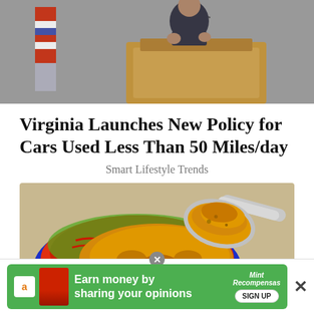[Figure (photo): Press conference scene showing a person at a wooden podium with microphones, American flag visible in the background, dark clothing]
Virginia Launches New Policy for Cars Used Less Than 50 Miles/day
Smart Lifestyle Trends
[Figure (photo): Close-up photo of bright yellow turmeric powder in a colorful decorative bowl (blue, red, green) with a silver spoon scooping the powder]
[Figure (other): Advertisement banner: green background with Amazon logo, red product image, text 'Earn money by sharing your opinions', MintRecompensas brand logo, SIGN UP button. Close buttons visible.]